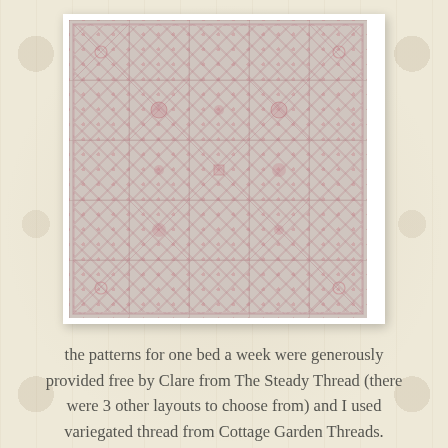[Figure (photo): A cross-stitch or embroidery sampler featuring a grid of decorative panels with pink floral and geometric patterns on a light fabric background. The sampler contains multiple rectangular sections each with different botanical or geometric motifs, framed with diagonal lattice borders.]
the patterns for one bed a week were generously provided free by Clare from The Steady Thread (there were 3 other layouts to choose from) and I used variegated thread from Cottage Garden Threads.